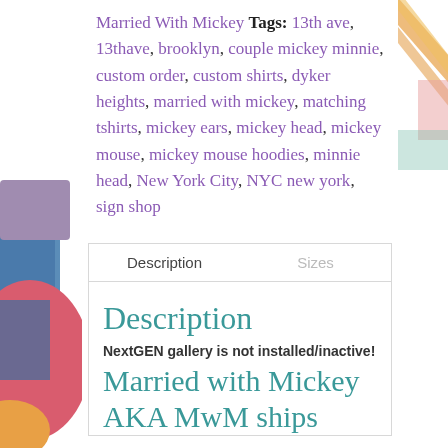Married With Mickey Tags: 13th ave, 13thave, brooklyn, couple mickey minnie, custom order, custom shirts, dyker heights, married with mickey, matching tshirts, mickey ears, mickey head, mickey mouse, mickey mouse hoodies, minnie head, New York City, NYC new york, sign shop
| Description | Sizes |
| --- | --- |
Description
NextGEN gallery is not installed/inactive!
Married with Mickey AKA MwM ships